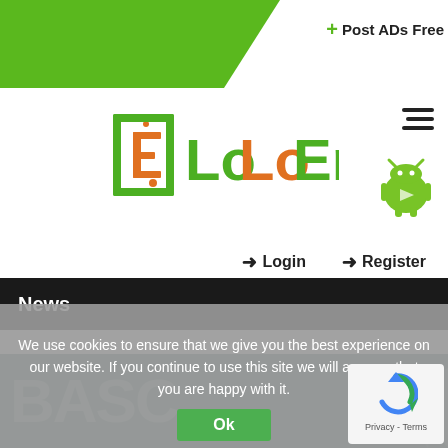[Figure (screenshot): Green triangle banner at top left with white background]
+ Post ADs Free
[Figure (logo): LoLoEn logo with green bracket and orange E letter]
[Figure (infographic): Hamburger menu icon (three horizontal lines)]
[Figure (illustration): Android robot icon (green) with Google Play triangle]
Login
Register
News
We use cookies to ensure that we give you the best experience on our website. If you continue to use this site we will assume that you are happy with it.
Ok
[Figure (screenshot): BASC logo text on teal/dark green background with a bird silhouette]
[Figure (other): reCAPTCHA widget showing spinning arrows icon and Privacy - Terms text]